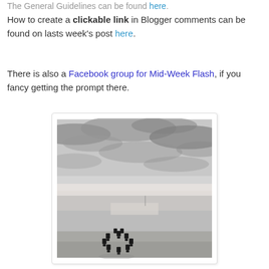The General Guidelines can be found here.
How to create a clickable link in Blogger comments can be found on lasts week's post here.
There is also a Facebook group for Mid-Week Flash, if you fancy getting the prompt there.
[Figure (photo): Black and white long-exposure photograph of a beach scene at dusk or dawn. A circle of chairs sits on the wet sand in the foreground. The background shows a calm sea with a dramatic cloudy sky, with light reflecting on the water.]